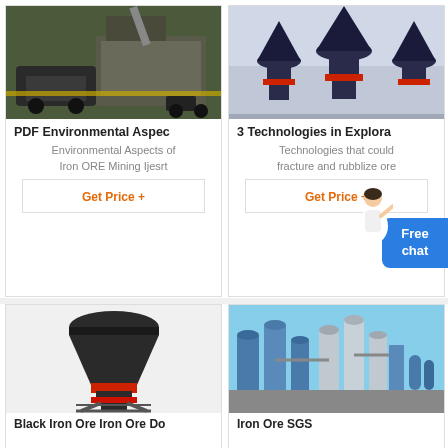[Figure (photo): Mining truck and mobile crushing equipment in a warehouse/workshop setting]
PDF Environmental Aspec
Environmental Aspects of Iron ORE Mining Ijesrt
Get Price +
[Figure (photo): Cone crushers in a large manufacturing facility]
3 Technologies in Explora
Technologies that could fracture and rubblize ore
Get Price +
[Figure (photo): Single cone crusher machine on a steel stand with red bands]
Black Iron Ore Iron Ore Do
[Figure (photo): Industrial ore processing plant with blue silos and storage tanks against blue sky]
Iron Ore SGS